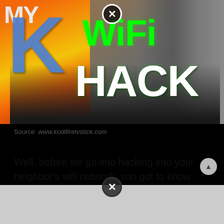[Figure (photo): Screenshot of a video thumbnail showing the Kodi logo (large blue 'K' with flame background) overlaid with green 'WiFi' text and white 'HACK' text. Below shows tablets and a person's hands on a table.]
Source: www.kodifiretvstick.com
Well, before we go into hacking into your neighbor’s wifi network, you got to know these things. He will also need to use the same ssid as the legit router.
[Figure (screenshot): Gray advertisement banner at the bottom of the page with a close button circle at the top center.]